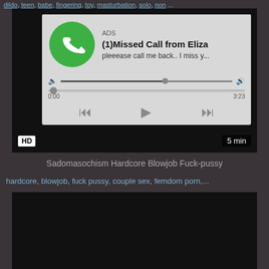dildo, teen, babe, fingering, toy, masturbation, solo, non ...
[Figure (screenshot): Video player with an advertisement overlay showing a missed call notification from Eliza with a green phone icon, audio player controls, progress bar showing 0:00 to 3:23, rewind/play/fast-forward buttons. HD badge and 5 min duration shown.]
Sadomasochism Hardcore Blowjob Fuck-pussy
hardcore, blowjob, fuck pussy, couple sex, femdom porn,...
[Figure (screenshot): Dark/black video thumbnail area]